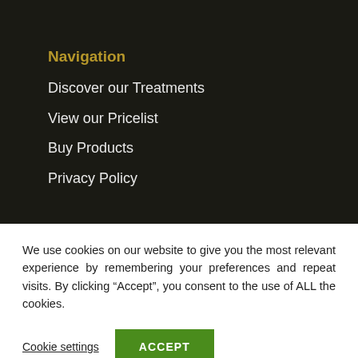Navigation
Discover our Treatments
View our Pricelist
Buy Products
Privacy Policy
We use cookies on our website to give you the most relevant experience by remembering your preferences and repeat visits. By clicking “Accept”, you consent to the use of ALL the cookies.
Cookie settings | ACCEPT